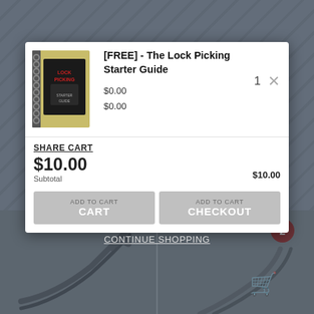[Figure (screenshot): E-commerce shopping cart popup overlay showing a free lock picking starter guide book added to cart, with subtotal $10.00, CART and CHECKOUT buttons, CONTINUE SHOPPING link, and background product images of lock picks.]
[FREE] - The Lock Picking Starter Guide
$0.00
$0.00
Long Ripple - Slender [.015"]
Diamond - Slender [.015"]
SHARE CART
$10.00
$10.00
Subtotal
$10.00
ADD TO CART
CART
ADD TO CART
CHECKOUT
CONTINUE SHOPPING